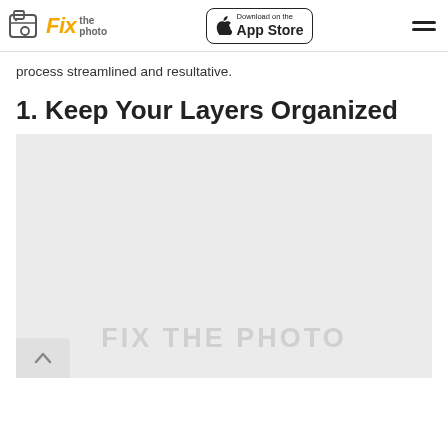Fix the photo | Download on the App Store
process streamlined and resultative.
1. Keep Your Layers Organized
[Figure (photo): Placeholder image with 'FIX THE PHOTO' watermark text on a light gray background, with a back-to-top arrow button in the bottom-left corner.]